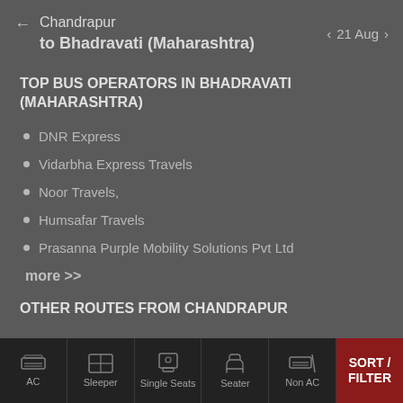Chandrapur to Bhadravati (Maharashtra) — 21 Aug
TOP BUS OPERATORS IN BHADRAVATI (MAHARASHTRA)
DNR Express
Vidarbha Express Travels
Noor Travels,
Humsafar Travels
Prasanna Purple Mobility Solutions Pvt Ltd
more >>
OTHER ROUTES FROM CHANDRAPUR
AC | Sleeper | Single Seats | Seater | Non AC | SORT / FILTER